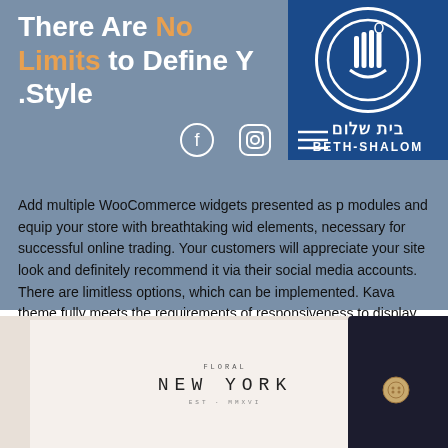There Are No Limits to Define Your .Style
[Figure (logo): Beth-Shalom logo: blue square with circular emblem showing stylized menorah/harp design, Hebrew text 'בית שלום' and English text 'BETH-SHALOM']
Add multiple WooCommerce widgets presented as page modules and equip your store with breathtaking widgets elements, necessary for successful online trading. Your customers will appreciate your site look and definitely recommend it via their social media accounts. There are limitless options, which can be implemented. Kava theme fully meets the requirements of responsiveness to display your web site perfectly on all devices. Kava will adapt your site automatically, so your visitors will be able to enter the site from either mobile phone or stationery PC.
[Figure (photo): Photo of a white card/envelope with text 'FLORAL NEW YORK' in a stylized font, placed on a dark fabric background with a visible button]